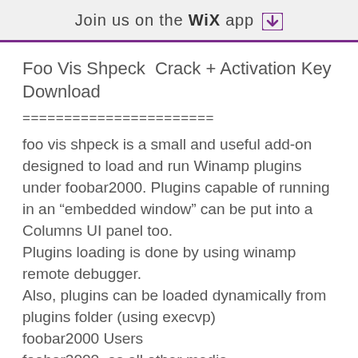Join us on the WiX app
Foo Vis Shpeck  Crack + Activation Key Download
=======================
foo vis shpeck is a small and useful add-on designed to load and run Winamp plugins under foobar2000. Plugins capable of running in an "embedded window" can be put into a Columns UI panel too.
Plugins loading is done by using winamp remote debugger.
Also, plugins can be loaded dynamically from plugins folder (using execvp)
foobar2000 Users
foobar2000, as all other media